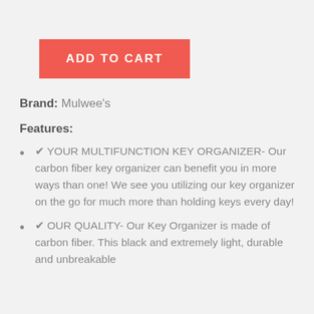[Figure (other): Red 'ADD TO CART' button]
Brand: Mulwee's
Features:
✔ YOUR MULTIFUNCTION KEY ORGANIZER- Our carbon fiber key organizer can benefit you in more ways than one! We see you utilizing our key organizer on the go for much more than holding keys every day!
✔ OUR QUALITY- Our Key Organizer is made of carbon fiber. This black and extremely light, durable and unbreakable